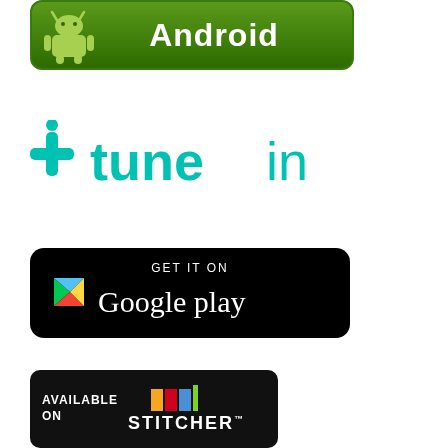[Figure (logo): Android app button - green rounded rectangle with Android robot mascot and text 'Android']
[Figure (logo): TuneIn logo - teal/cyan colored logo with TuneIn icon and text 'tunein']
[Figure (logo): Google Play badge - black rounded rectangle with 'GET IT ON' and 'Google play' text and colorful play button triangle]
[Figure (logo): Stitcher badge - black rounded rectangle with 'AVAILABLE ON' text and Stitcher logo with colored bars]